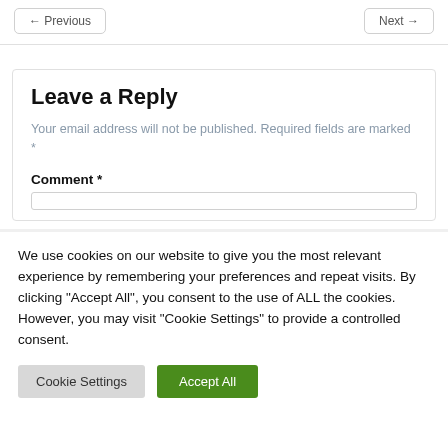← Previous    Next →
Leave a Reply
Your email address will not be published. Required fields are marked *
Comment *
We use cookies on our website to give you the most relevant experience by remembering your preferences and repeat visits. By clicking "Accept All", you consent to the use of ALL the cookies. However, you may visit "Cookie Settings" to provide a controlled consent.
Cookie Settings   Accept All